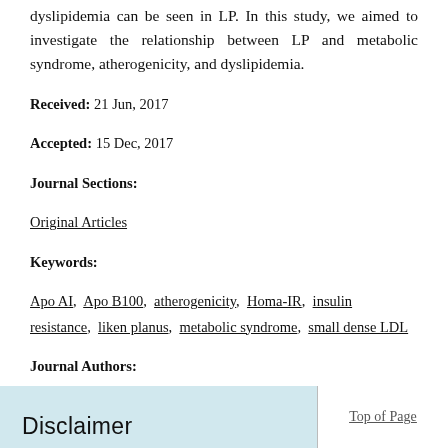dyslipidemia can be seen in LP. In this study, we aimed to investigate the relationship between LP and metabolic syndrome, atherogenicity, and dyslipidemia.
Received: 21 Jun, 2017
Accepted: 15 Dec, 2017
Journal Sections:
Original Articles
Keywords:
Apo AI, Apo B100, atherogenicity, Homa-IR, insulin resistance, liken planus, metabolic syndrome, small dense LDL
Journal Authors:
S Ozdemir, O Calka, AS Karadag, E Çokluk, Z Takci, R Balaharoğlu, SG Bilgili
e-Published: 19 Dec, 2017
Read more
Disclaimer
Top of Page